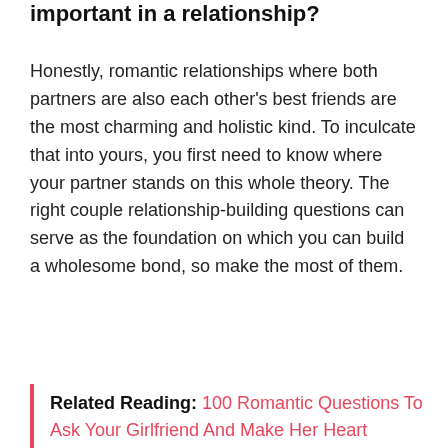important in a relationship?
Honestly, romantic relationships where both partners are also each other’s best friends are the most charming and holistic kind. To inculcate that into yours, you first need to know where your partner stands on this whole theory. The right couple relationship-building questions can serve as the foundation on which you can build a wholesome bond, so make the most of them.
Related Reading: 100 Romantic Questions To Ask Your Girlfriend And Make Her Heart